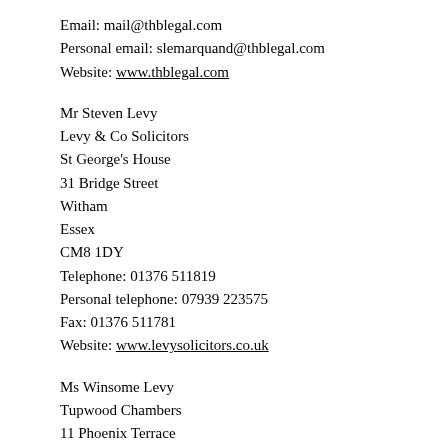Email: mail@thblegal.com
Personal email: slemarquand@thblegal.com
Website: www.thblegal.com
Mr Steven Levy
Levy & Co Solicitors
St George's House
31 Bridge Street
Witham
Essex
CM8 1DY
Telephone: 01376 511819
Personal telephone: 07939 223575
Fax: 01376 511781
Website: www.levysolicitors.co.uk
Ms Winsome Levy
Tupwood Chambers
11 Phoenix Terrace